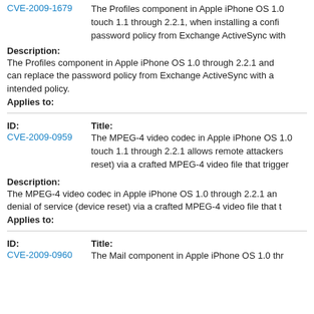CVE-2009-1679 The Profiles component in Apple iPhone OS 1.0 through 2.2.1 and iPhone OS for iPod touch 1.1 through 2.2.1, when installing a configuration profile, does not enforce the password policy from Exchange ActiveSync with a…
Description:
The Profiles component in Apple iPhone OS 1.0 through 2.2.1 and… can replace the password policy from Exchange ActiveSync with a… intended policy.
Applies to:
ID:   Title:
CVE-2009-0959   The MPEG-4 video codec in Apple iPhone OS 1.0 through 2.2.1 and iPhone OS for iPod touch 1.1 through 2.2.1 allows remote attackers to cause a denial of service (device reset) via a crafted MPEG-4 video file that trigger…
Description:
The MPEG-4 video codec in Apple iPhone OS 1.0 through 2.2.1 and… denial of service (device reset) via a crafted MPEG-4 video file that t…
Applies to:
ID:   Title:
CVE-2009-0960   The Mail component in Apple iPhone OS 1.0 thr…